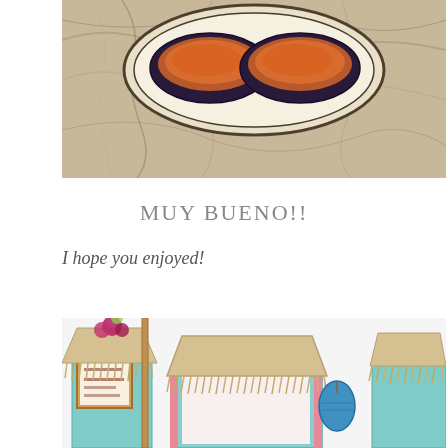[Figure (photo): Photo of food dish (stuffed eggplant or similar) on a plate with marble countertop background]
MUY BUENO!!
I hope you enjoyed!
[Figure (photo): Photo of a decorative tropical tiki hut model/diorama with straw roof, teal walls, flowers, and a blue paper lantern]